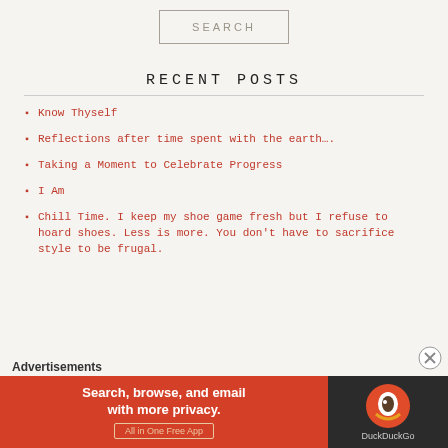[Figure (other): Search button with border, text SEARCH in light grey]
RECENT POSTS
Know Thyself
Reflections after time spent with the earth….
Taking a Moment to Celebrate Progress
I Am
Chill Time. I keep my shoe game fresh but I refuse to hoard shoes. Less is more. You don't have to sacrifice style to be frugal.
Advertisements
[Figure (other): DuckDuckGo advertisement banner: Search, browse, and email with more privacy. All in One Free App. DuckDuckGo logo on dark background.]